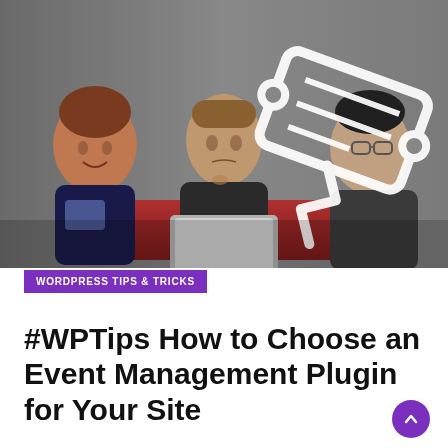[Figure (photo): Three business professionals sitting together, the man in the middle using a laptop, woman on the left smiling and writing, man on the right looking on. A large white ticket/tag icon overlay is visible in the upper center of the image.]
WORDPRESS TIPS & TRICKS
#WPTips How to Choose an Event Management Plugin for Your Site